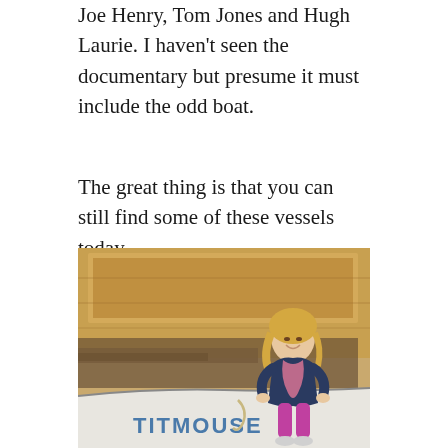Joe Henry, Tom Jones and Hugh Laurie. I haven't seen the documentary but presume it must include the odd boat.
The great thing is that you can still find some of these vessels today –
[Figure (photo): A smiling blonde woman crouching beside a white boat named TITMOUSE in what appears to be a boatyard or workshop. She is wearing a navy jacket and pink scarf with magenta trousers. The boat's hull displays the name TITMOUSE in blue letters. Wooden planks and boat frames are visible in the background.]